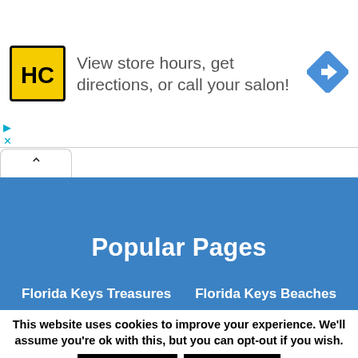[Figure (logo): Hairclub (HC) logo in yellow box with black border, followed by ad text 'View store hours, get directions, or call your salon!' and a blue navigation/directions diamond icon]
View store hours, get directions, or call your salon!
Popular Pages
Florida Keys Treasures    Florida Keys Beaches
This website uses cookies to improve your experience. We'll assume you're ok with this, but you can opt-out if you wish.
Accept Cookies
Reject Cookies
Read More